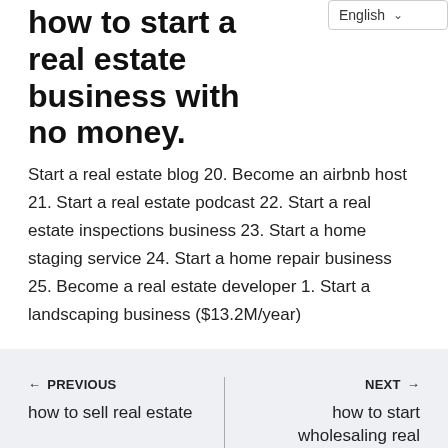how to start a real estate business with no money.
Start a real estate blog 20. Become an airbnb host 21. Start a real estate podcast 22. Start a real estate inspections business 23. Start a home staging service 24. Start a home repair business 25. Become a real estate developer 1. Start a landscaping business ($13.2M/year)
← PREVIOUS
how to sell real estate
NEXT →
how to start wholesaling real estate